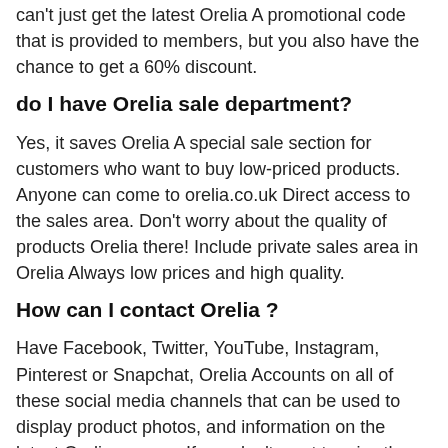can't just get the latest Orelia A promotional code that is provided to members, but you also have the chance to get a 60% discount.
do I have Orelia sale department?
Yes, it saves Orelia A special sale section for customers who want to buy low-priced products. Anyone can come to orelia.co.uk Direct access to the sales area. Don't worry about the quality of products Orelia there! Include private sales area in Orelia Always low prices and high quality.
How can I contact Orelia ?
Have Facebook, Twitter, YouTube, Instagram, Pinterest or Snapchat, Orelia Accounts on all of these social media channels that can be used to display product photos, and information on the latest Orelia coupon. If you don't want to miss these messages, just subscribe to Orelia to